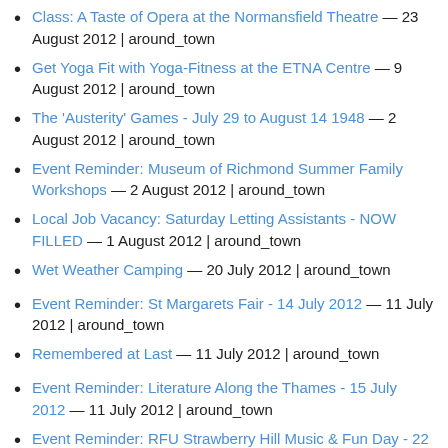Class: A Taste of Opera at the Normansfield Theatre — 23 August 2012 | around_town
Get Yoga Fit with Yoga-Fitness at the ETNA Centre — 9 August 2012 | around_town
The 'Austerity' Games - July 29 to August 14 1948 — 2 August 2012 | around_town
Event Reminder: Museum of Richmond Summer Family Workshops — 2 August 2012 | around_town
Local Job Vacancy: Saturday Letting Assistants - NOW FILLED — 1 August 2012 | around_town
Wet Weather Camping — 20 July 2012 | around_town
Event Reminder: St Margarets Fair - 14 July 2012 — 11 July 2012 | around_town
Remembered at Last — 11 July 2012 | around_town
Event Reminder: Literature Along the Thames - 15 July 2012 — 11 July 2012 | around_town
Event Reminder: RFU Strawberry Hill Music & Fun Day - 22 July 2012 — 11 July 2012 | around_town
Please Sign a Petition for a 20 mph Speed Limit nea...